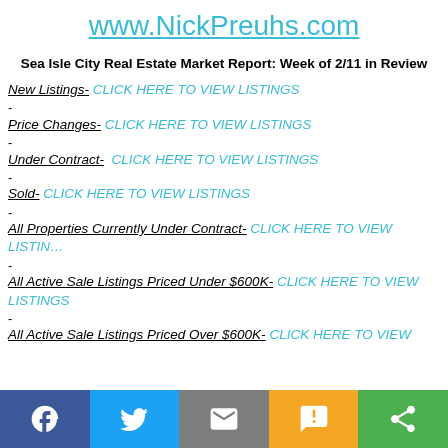www.NickPreuhs.com
Sea Isle City Real Estate Market Report: Week of 2/11 in Review
New Listings- CLICK HERE TO VIEW LISTINGS
-
Price Changes- CLICK HERE TO VIEW LISTINGS
-
Under Contract- CLICK HERE TO VIEW LISTINGS
-
Sold- CLICK HERE TO VIEW LISTINGS
-
All Properties Currently Under Contract- CLICK HERE TO VIEW LISTINGS
-
All Active Sale Listings Priced Under $600K- CLICK HERE TO VIEW LISTINGS
-
All Active Sale Listings Priced Over $600K- CLICK HERE TO VIEW